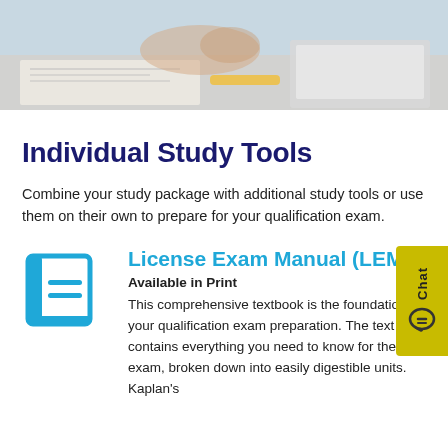[Figure (photo): Photo of a person studying at a desk with papers, a laptop, and writing tools visible from above]
Individual Study Tools
Combine your study package with additional study tools or use them on their own to prepare for your qualification exam.
[Figure (illustration): Blue book/manual icon (stylized open book with lines)]
License Exam Manual (LEM)
Available in Print
This comprehensive textbook is the foundation of your qualification exam preparation. The text contains everything you need to know for the exam, broken down into easily digestible units. Kaplan's